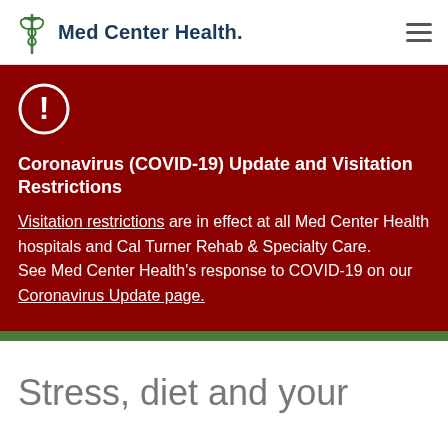Med Center Health.
Coronavirus (COVID-19) Update and Visitation Restrictions
Visitation restrictions are in effect at all Med Center Health hospitals and Cal Turner Rehab & Specialty Care.
See Med Center Health's response to COVID-19 on our Coronavirus Update page.
Stress, diet and your